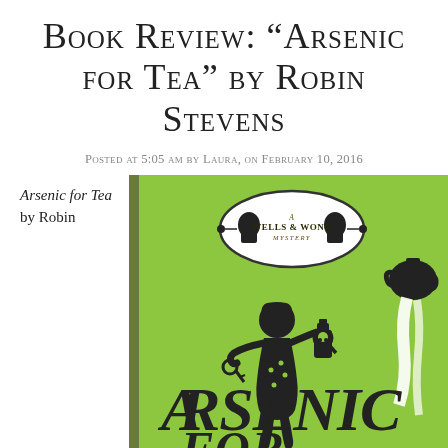Book Review: “Arsenic for Tea” by Robin Stevens
Posted at 5:05 am by Laura, on February 10, 2016
Arsenic for Tea by Robin
[Figure (illustration): Book cover of 'Arsenic for Tea' - a Wells & Wong Mystery by Robin Stevens. Green background with black silhouettes of two girls and a teapot, with large stylized text reading 'ARSENIC FOR' at the bottom.]